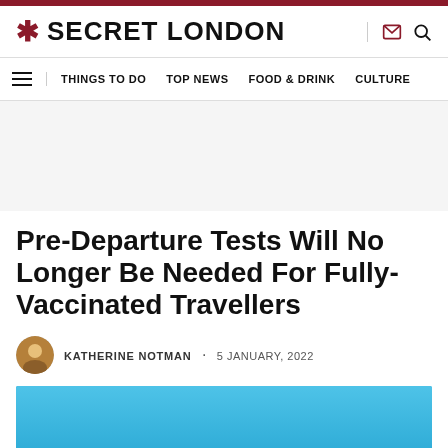SECRET LONDON
THINGS TO DO · TOP NEWS · FOOD & DRINK · CULTURE
[Figure (other): Advertisement placeholder area with light grey background]
Pre-Departure Tests Will No Longer Be Needed For Fully-Vaccinated Travellers
KATHERINE NOTMAN · 5 JANUARY, 2022
[Figure (photo): Photo with blue sky background, partial travel-related image at bottom]